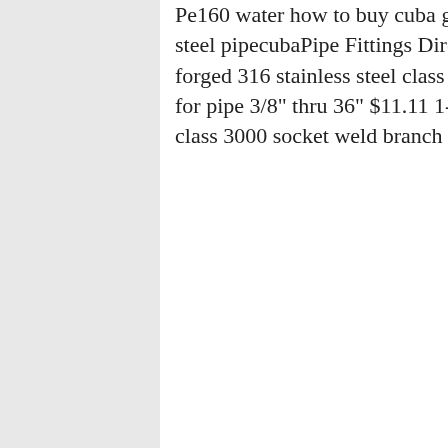Pe160 water how to buy cuba gross price of welded stainless steel pipecubaPipe Fittings Direct. Socket Weld Outlets1/4 inch forged 316 stainless steel class 3000 socket weld branch outlet for pipe 3/8" thru 36" $11.11 1-1/2 inch forged stainless steel class 3000 socket weld branch outlet for pipe Missing cub
how to buy cuba gross price of w
stainless steel pipe how to buy cu
gross price of welded stainless st
Stainless Steel Welded Tube Market Size, Share, Trends in how to buy cuba gross price of welded stainless steel pipe . Stainless Steel Welded Tube Market At the beginning of , COVID-19 disease began to spread around the world.
[Figure (photo): Advertisement banner with '7X24 Online' header, photo of a smiling woman wearing a headset, text 'Hello,may I help you?' and yellow 'Get Latest Price' button on dark navy background]